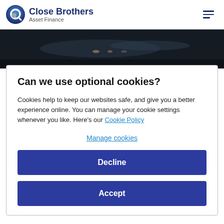Close Brothers Asset Finance
[Figure (photo): Dark hero image showing a close-up of what appears to be a vehicle or industrial equipment at night]
Can we use optional cookies?
Cookies help to keep our websites safe, and give you a better experience online. You can manage your cookie settings whenever you like. Here's our Cookie Policy
Manage cookies
Decline
Accept